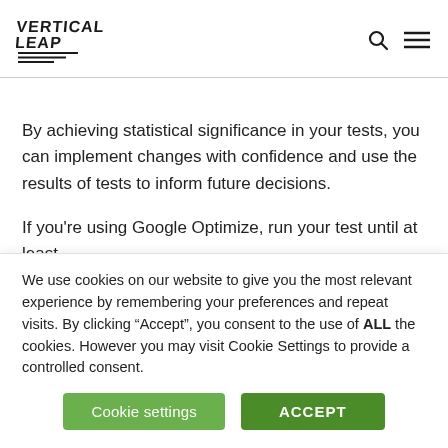[Figure (logo): Vertical Leap logo with stylized text and speed lines]
By achieving statistical significance in your tests, you can implement changes with confidence and use the results of tests to inform future decisions.
If you're using Google Optimize, run your test until at least
We use cookies on our website to give you the most relevant experience by remembering your preferences and repeat visits. By clicking “Accept”, you consent to the use of ALL the cookies. However you may visit Cookie Settings to provide a controlled consent.
Cookie settings | ACCEPT